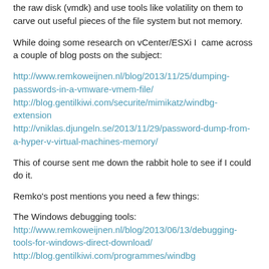the raw disk (vmdk) and use tools like volatility on them to carve out useful pieces of the file system but not memory.
While doing some research on vCenter/ESXi I came across a couple of blog posts on the subject:
http://www.remkoweijnen.nl/blog/2013/11/25/dumping-passwords-in-a-vmware-vmem-file/
http://blog.gentilkiwi.com/securite/mimikatz/windbg-extension
http://vniklas.djungeln.se/2013/11/29/password-dump-from-a-hyper-v-virtual-machines-memory/
This of course sent me down the rabbit hole to see if I could do it.
Remko's post mentions you need a few things:
The Windows debugging tools:
http://www.remkoweijnen.nl/blog/2013/06/13/debugging-tools-for-windows-direct-download/
http://blog.gentilkiwi.com/programmes/windbg